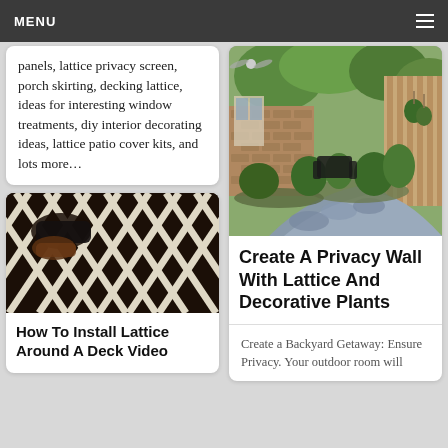MENU
panels, lattice privacy screen, porch skirting, decking lattice, ideas for interesting window treatments, diy interior decorating ideas, lattice patio cover kits, and lots more…
[Figure (photo): Hands using a power tool on a black and white lattice panel]
How To Install Lattice Around A Deck Video
[Figure (photo): Outdoor patio with flagstone walkway, raised brick garden beds, wrought iron furniture, and lush plants with a wooden privacy wall]
Create A Privacy Wall With Lattice And Decorative Plants
Create a Backyard Getaway: Ensure Privacy. Your outdoor room will